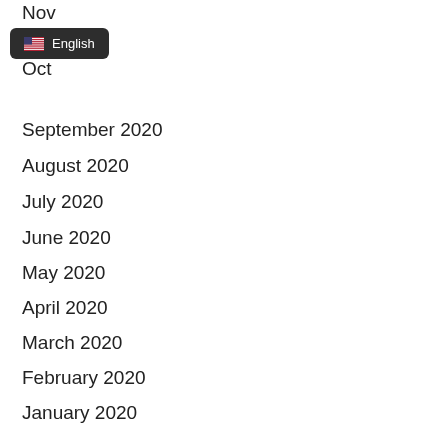[Figure (screenshot): Tooltip/dropdown showing US flag emoji and 'English' text on dark rounded background]
September 2020
August 2020
July 2020
June 2020
May 2020
April 2020
March 2020
February 2020
January 2020
December 2019
November 2019